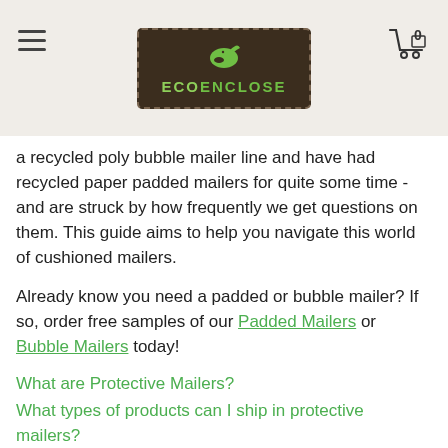EcoEnclose logo header with hamburger menu and cart icon
a recycled poly bubble mailer line and have had recycled paper padded mailers for quite some time - and are struck by how frequently we get questions on them. This guide aims to help you navigate this world of cushioned mailers.
Already know you need a padded or bubble mailer? If so, order free samples of our Padded Mailers or Bubble Mailers today!
What are Protective Mailers?
What types of products can I ship in protective mailers?
When are Protective Mailers better than corrugated boxes? When are shipping boxes better?